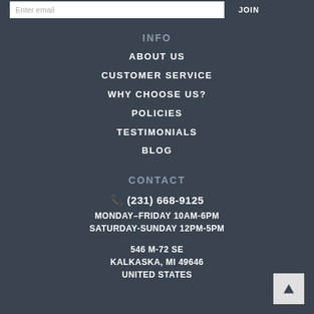Enter email | JOIN
INFO
ABOUT US
CUSTOMER SERVICE
WHY CHOOSE US?
POLICIES
TESTIMONIALS
BLOG
CONTACT
(231) 668-9125
MONDAY–FRIDAY 10AM-6PM
SATURDAY-SUNDAY 12PM-5PM
546 M-72 SE
KALKASKA, MI 49646
UNITED STATES